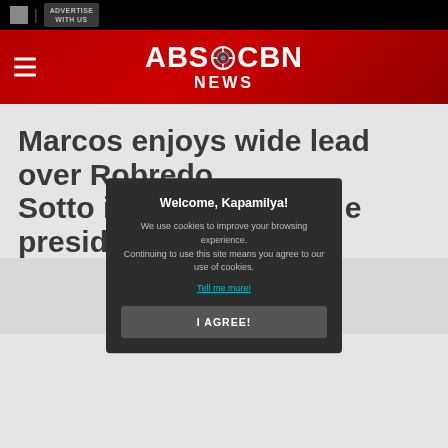ADVERTISE WITH US
ABS-CBN NEWS
Marcos enjoys wide lead over Robredo, Sotto in surveys for presidential race
Welcome, Kapamilya!
We use cookies to improve your browsing experience.
Continuing to use this site means you agree to our use of cookies.
Tell me more!
I AGREE!